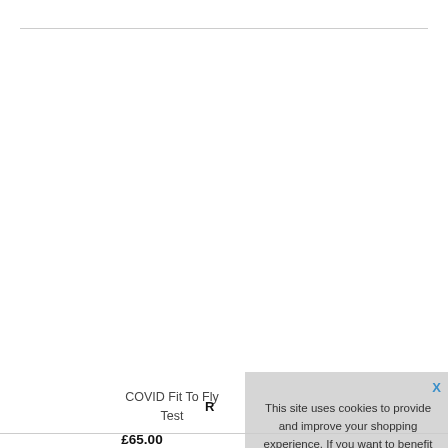COVID Fit To Fly Test
£65.00
This site uses cookies to provide and improve your shopping experience. If you want to benefit from this improved service, please opt-in.. Cookies Page.
I opt-in to a better browsing experience
Accept Cookies
R